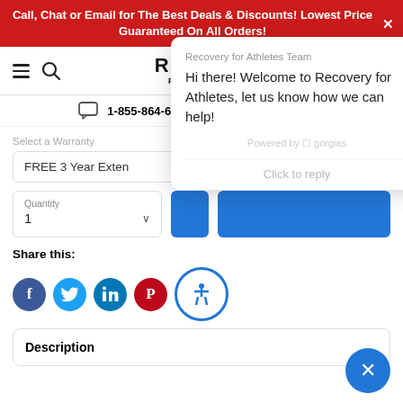Call, Chat or Email for The Best Deals & Discounts! Lowest Price Guaranteed On All Orders!
[Figure (logo): Recovery for Athletes logo with hamburger menu, search icon, and cart icon]
1-855-864-6442  Mon-Fri: 9am-6pm EST
Select a Warranty
FREE 3 Year Exten...
Quantity
1
Share this:
[Figure (infographic): Social share buttons: Facebook, Twitter, LinkedIn, Pinterest circles and accessibility icon circle]
[Figure (screenshot): Chat popup from Recovery for Athletes Team saying: Hi there! Welcome to Recovery for Athletes, let us know how we can help! Powered by gorgias. Click to reply.]
Description